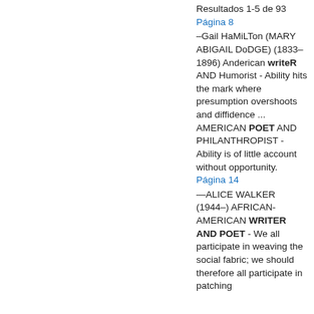Resultados 1-5 de 93
Página 8
–Gail HaMiLTon (MARY ABIGAIL DoDGE) (1833–1896) Anderican writeR AND Humorist - Ability hits the mark where presumption overshoots and diffidence ... AMERICAN POET AND PHILANTHROPIST - Ability is of little account without opportunity.
Página 14
—ALICE WALKER (1944–) AFRICAN-AMERICAN WRITER AND POET - We all participate in weaving the social fabric; we should therefore all participate in patching